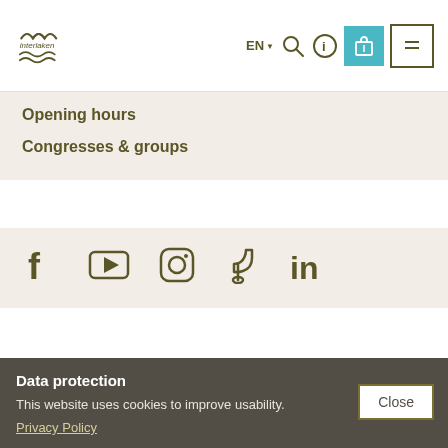[Figure (logo): Interlaken logo with mountain wave motif and text]
Opening hours
Congresses & groups
[Figure (infographic): Social media icons: Facebook, YouTube, Instagram, TikTok, LinkedIn]
Municipality Interlaken | Current information | Disclaimer | Data Protection | Contact | About us | Travel trade | Media | Partner
Data protection
This website uses cookies to improve usability.
Privacy Policy